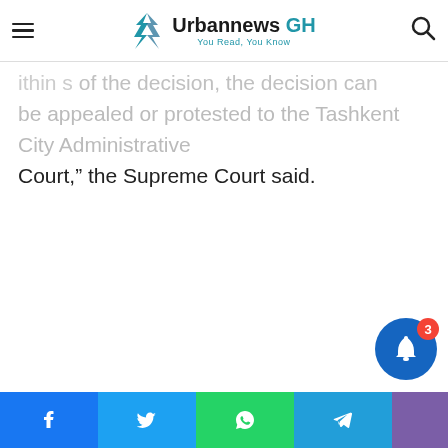Urbannews GH — You Read, You Know
ithin s of the decision, the decision can be appealed or protested to the Tashkent City Administrative Court," the Supreme Court said.
Share buttons: Facebook, Twitter, WhatsApp, Telegram